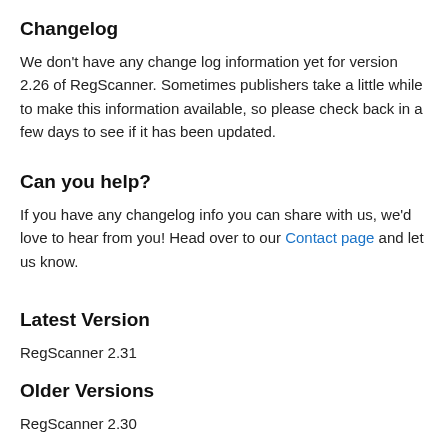Changelog
We don't have any change log information yet for version 2.26 of RegScanner. Sometimes publishers take a little while to make this information available, so please check back in a few days to see if it has been updated.
Can you help?
If you have any changelog info you can share with us, we'd love to hear from you! Head over to our Contact page and let us know.
Latest Version
RegScanner 2.31
Older Versions
RegScanner 2.30
RegScanner 2.26